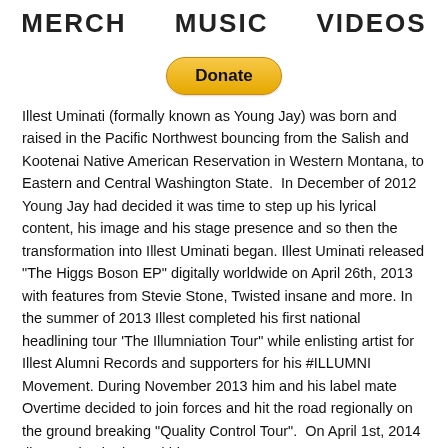MERCH   MUSIC   VIDEOS
[Figure (other): Donate button (PayPal-style yellow rounded button)]
Illest Uminati (formally known as Young Jay) was born and raised in the Pacific Northwest bouncing from the Salish and Kootenai Native American Reservation in Western Montana, to Eastern and Central Washington State.  In December of 2012 Young Jay had decided it was time to step up his lyrical content, his image and his stage presence and so then the transformation into Illest Uminati began. Illest Uminati released "The Higgs Boson EP" digitally worldwide on April 26th, 2013 with features from Stevie Stone, Twisted insane and more. In the summer of 2013 Illest completed his first national headlining tour 'The Illumniation Tour" while enlisting artist for Illest Alumni Records and supporters for his #ILLUMNI Movement. During November 2013 him and his label mate Overtime decided to join forces and hit the road regionally on the ground breaking "Quality Control Tour".  On April 1st, 2014 Illest Uminati released his